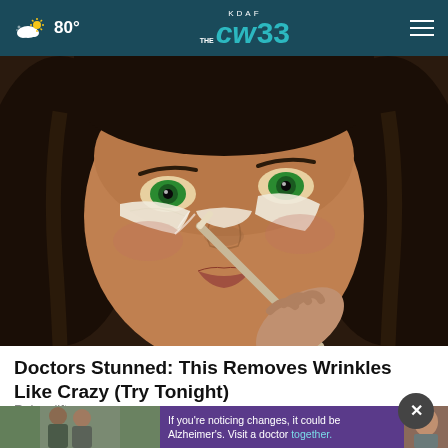KDAF CW33 — 80°
[Figure (photo): Close-up of a woman with green eyes applying cream or concealer under her eyes with a brush; beauty/skincare editorial photo]
Doctors Stunned: This Removes Wrinkles Like Crazy (Try Tonight)
Rejuvalift
[Figure (photo): Advertisement banner: two men standing together outdoors with text 'If you're noticing changes, it could be Alzheimer's. Visit a doctor together.']